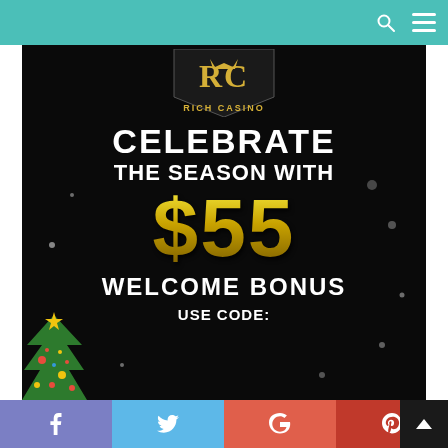[Figure (screenshot): Website screenshot showing Rich Casino promotional advertisement. Teal header bar at top with search and menu icons. Main promotional banner on black background featuring Rich Casino logo (RC letters in gold/white on dark pennant shape), text 'CELEBRATE THE SEASON WITH $55 WELCOME BONUS USE CODE: ...' in white and gold. Christmas tree decoration in bottom left corner. Social media sharing bar at bottom with Facebook, Twitter, Google, and Pinterest buttons.]